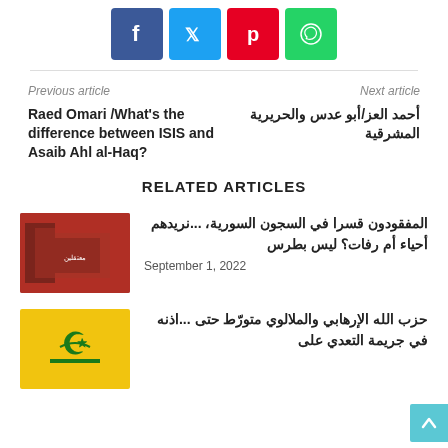[Figure (other): Social media share buttons: Facebook (blue), Twitter (light blue), Pinterest (red), WhatsApp (green)]
Previous article
Next article
Raed Omari /What's the difference between ISIS and Asaib Ahl al-Haq?
أحمد العز/أبو عدس والحريرية المشرقية
RELATED ARTICLES
[Figure (photo): Protest photo showing people holding a sign with Arabic text about detainees]
المفقودون قسرا في السجون السورية، ...نريدهم أحياء أم رفات؟ ليس بطرس
September 1, 2022
[Figure (photo): Yellow background with green Hezbollah emblem/logo]
حزب الله الإرهابي والملالوي متورّط حتى ...اذنه في جريمة التعدي على